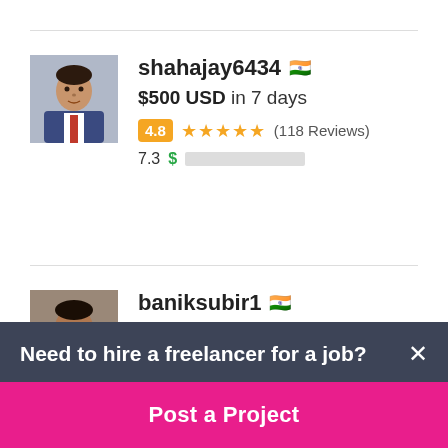[Figure (screenshot): Freelancer profile card for shahajay6434 with India flag, $500 USD in 7 days bid, 4.8 rating with 5 stars and 118 Reviews, score 7.3 with green progress bar]
shahajay6434 🇮🇳
$500 USD in 7 days
4.8 ★★★★★ (118 Reviews)
7.3 $ [progress bar]
baniksubir1 🇮🇳
Need to hire a freelancer for a job?
Post a Project